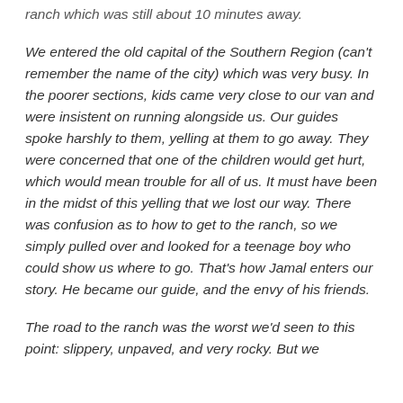ranch which was still about 10 minutes away.
We entered the old capital of the Southern Region (can't remember the name of the city) which was very busy. In the poorer sections, kids came very close to our van and were insistent on running alongside us. Our guides spoke harshly to them, yelling at them to go away. They were concerned that one of the children would get hurt, which would mean trouble for all of us. It must have been in the midst of this yelling that we lost our way. There was confusion as to how to get to the ranch, so we simply pulled over and looked for a teenage boy who could show us where to go. That's how Jamal enters our story. He became our guide, and the envy of his friends.
The road to the ranch was the worst we'd seen to this point: slippery, unpaved, and very rocky. But we